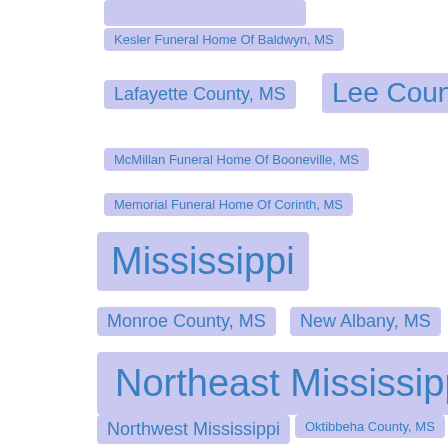(partial tag top)
Kesler Funeral Home Of Baldwyn, MS
Lafayette County, MS
Lee County, MS
McMillan Funeral Home Of Booneville, MS
Memorial Funeral Home Of Corinth, MS
Mississippi
Monroe County, MS
New Albany, MS
Northeast Mississippi
Northwest Mississippi
Oktibbeha County, MS
Oxford, MS
Pontotoc, MS